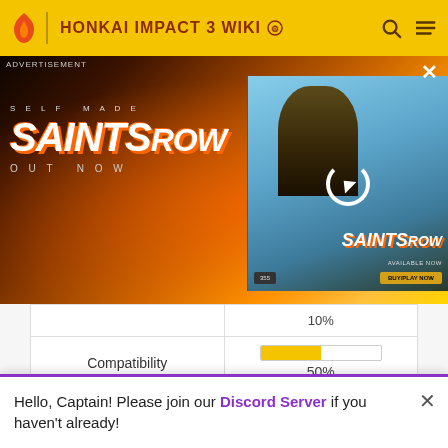HONKAI IMPACT 3 WIKI
[Figure (photo): Advertisement banner for Saints Row video game showing action scene with cars and characters, with a smaller inset thumbnail showing a character and the Saints Row logo with a loading/refresh circle overlay.]
|  |  |
| --- | --- |
|  | 10% |
| Compatibility | 50% |
Other Languages
Hello, Captain! Please join our Discord Server if you haven't already!